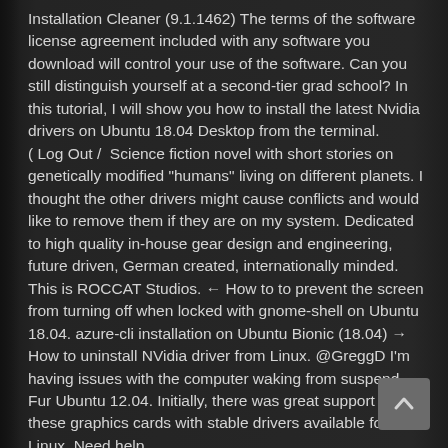Installation Cleaner (9.1.1462) The terms of the software license agreement included with any software you download will control your use of the software. Can you still distinguish yourself at a second-tier grad school? In this tutorial, I will show you how to install the latest Nvidia drivers on Ubuntu 18.04 Desktop from the terminal. ( Log Out /  Science fiction novel with short stories on genetically modified "humans" living on different planets. I thought the other drivers might cause conflicts and would like to remove them if they are on my system. Dedicated to high quality in-house gear design and engineering, future driven, German created, internationally minded. This is ROCCAT Studios. ← How to to prevent the screen from turning off when locked with gnome-shell on Ubuntu 18.04. azure-cli installation on Ubuntu Bionic (18.04) → How to uninstall NVidia driver from Linux. @GreggD I'm having issues with the computer waking from suspend. Fur Ubuntu 12.04. Initially, there was great support for these graphics cards with stable drivers available for Linux. Need help...